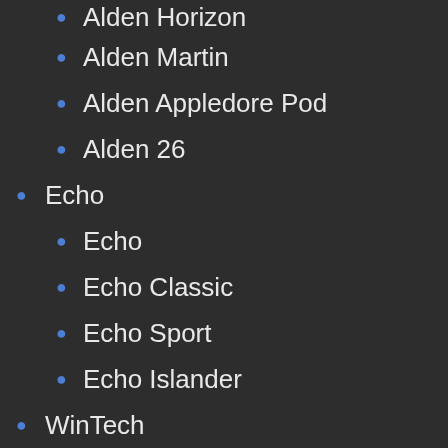Alden Horizon
Alden Martin
Alden Appledore Pod
Alden 26
Echo
Echo
Echo Classic
Echo Sport
Echo Islander
WinTech
WinTech
WinTech Explorer 21